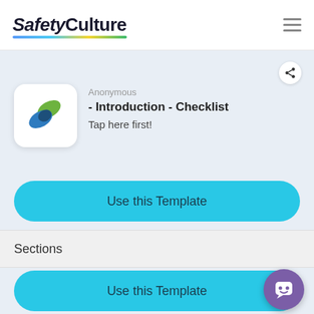SafetyCulture
[Figure (logo): SafetyCulture app logo with blue and green overlapping pill/checkmark shapes]
Anonymous
- Introduction - Checklist
Tap here first!
Use this Template
Sections
Use this Template